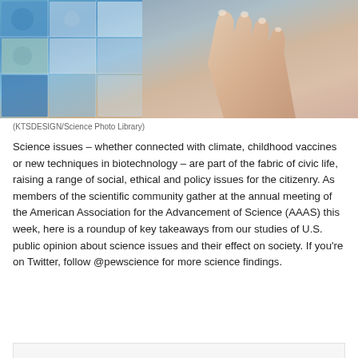[Figure (photo): A hand picking up or arranging a collage of scientific images including microscopy, nature, technology and biological imagery against a blue-toned background]
(KTSDESIGN/Science Photo Library)
Science issues – whether connected with climate, childhood vaccines or new techniques in biotechnology – are part of the fabric of civic life, raising a range of social, ethical and policy issues for the citizenry. As members of the scientific community gather at the annual meeting of the American Association for the Advancement of Science (AAAS) this week, here is a roundup of key takeaways from our studies of U.S. public opinion about science issues and their effect on society. If you're on Twitter, follow @pewscience for more science findings.